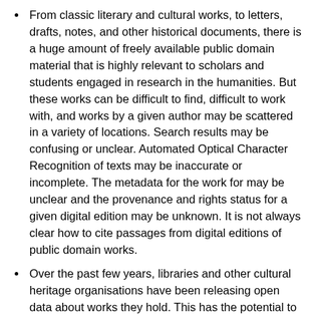From classic literary and cultural works, to letters, drafts, notes, and other historical documents, there is a huge amount of freely available public domain material that is highly relevant to scholars and students engaged in research in the humanities. But these works can be difficult to find, difficult to work with, and works by a given author may be scattered in a variety of locations. Search results may be confusing or unclear. Automated Optical Character Recognition of texts may be inaccurate or incomplete. The metadata for the work for may be unclear and the provenance and rights status for a given digital edition may be unknown. It is not always clear how to cite passages from digital editions of public domain works.
Over the past few years, libraries and other cultural heritage organisations have been releasing open data about works they hold. This has the potential to be a